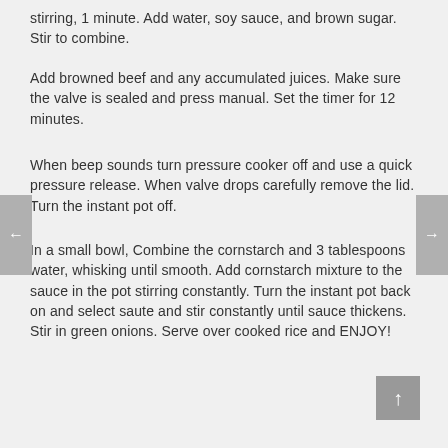stirring, 1 minute. Add water, soy sauce, and brown sugar. Stir to combine.
Add browned beef and any accumulated juices. Make sure the valve is sealed and press manual. Set the timer for 12 minutes.
When beep sounds turn pressure cooker off and use a quick pressure release. When valve drops carefully remove the lid. Turn the instant pot off.
In a small bowl, Combine the cornstarch and 3 tablespoons water, whisking until smooth. Add cornstarch mixture to the sauce in the pot stirring constantly. Turn the instant pot back on and select saute and stir constantly until sauce thickens. Stir in green onions. Serve over cooked rice and ENJOY!